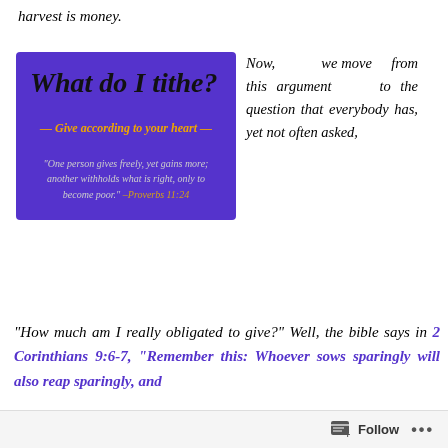harvest is money.
[Figure (infographic): Purple box with bold italic heading 'What do I tithe?', subheading '— Give according to your heart —' in gold, and a quote from Proverbs 11:24 in italic white/grey text.]
Now, we move from this argument to the question that everybody has, yet not often asked,
"How much am I really obligated to give?" Well, the bible says in 2 Corinthians 9:6-7, “Remember this: Whoever sows sparingly will also reap sparingly, and
Follow ...